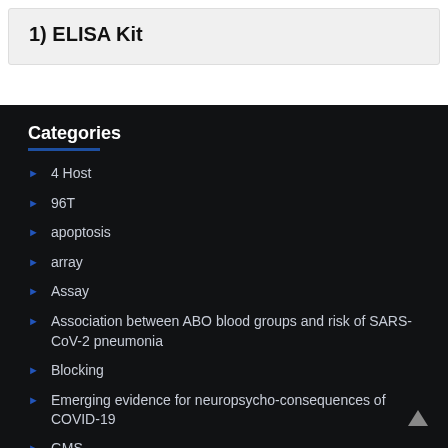1) ELISA Kit
Categories
4 Host
96T
apoptosis
array
Assay
Association between ABO blood groups and risk of SARS-CoV-2 pneumonia
Blocking
Emerging evidence for neuropsycho-consequences of COVID-19
GMS